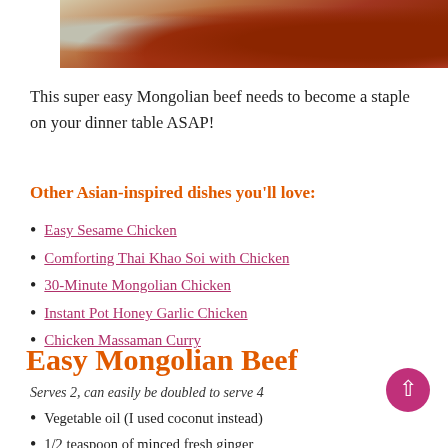[Figure (photo): Partial photo of Mongolian beef dish in a bowl, showing meat with sauce and rice, cropped at top of page]
This super easy Mongolian beef needs to become a staple on your dinner table ASAP!
Other Asian-inspired dishes you'll love:
Easy Sesame Chicken
Comforting Thai Khao Soi with Chicken
30-Minute Mongolian Chicken
Instant Pot Honey Garlic Chicken
Chicken Massaman Curry
Easy Mongolian Beef
Serves 2, can easily be doubled to serve 4
Vegetable oil (I used coconut instead)
1/2 teaspoon of minced fresh ginger